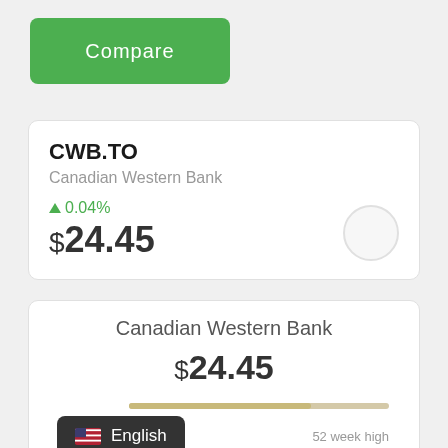Compare
CWB.TO
Canadian Western Bank
↑0.04%
$24.45
Canadian Western Bank
$24.45
52 week high